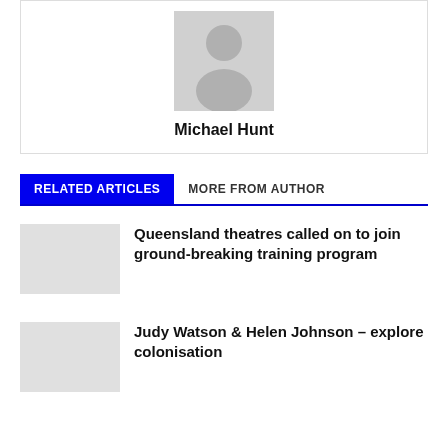[Figure (photo): Author avatar placeholder — grey silhouette of a person on light grey background]
Michael Hunt
RELATED ARTICLES   MORE FROM AUTHOR
Queensland theatres called on to join ground-breaking training program
Judy Watson & Helen Johnson – explore colonisation